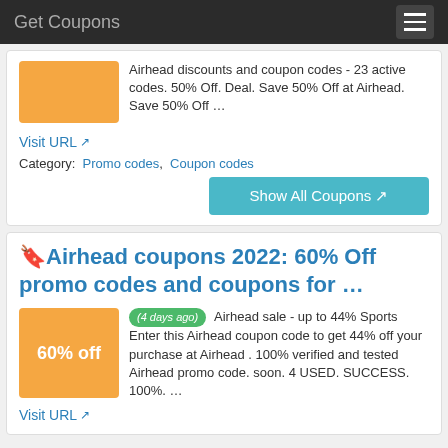Get Coupons
Airhead discounts and coupon codes - 23 active codes. 50% Off. Deal. Save 50% Off at Airhead. Save 50% Off …
Visit URL
Category: Promo codes, Coupon codes
Show All Coupons
🔖Airhead coupons 2022: 60% Off promo codes and coupons for …
(4 days ago) Airhead sale - up to 44% Sports Enter this Airhead coupon code to get 44% off your purchase at Airhead . 100% verified and tested Airhead promo code. soon. 4 USED. SUCCESS. 100%. …
Visit URL